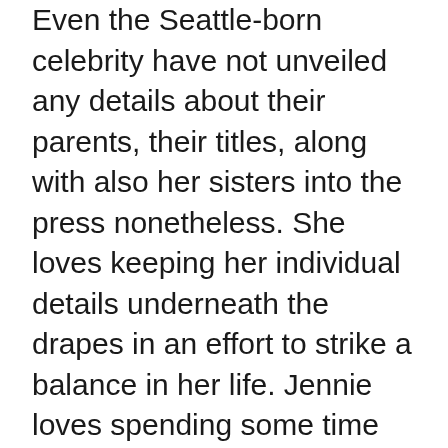Even the Seattle-born celebrity have not unveiled any details about their parents, their titles, along with also her sisters into the press nonetheless. She loves keeping her individual details underneath the drapes in an effort to strike a balance in her life. Jennie loves spending some time with her buddies and additionally helping her out on her own plantation.